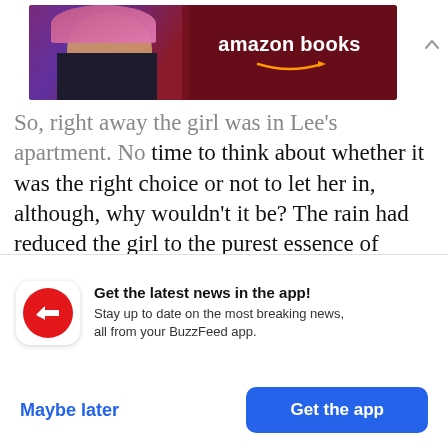[Figure (screenshot): Amazon Books advertisement banner with a person holding a book and the Amazon Books logo with smile arrow]
So, right away the girl was in Lee's apartment. No time to think about whether it was the right choice or not to let her in, although, why wouldn't it be? The rain had reduced the girl to the purest essence of herself, hair plasticked to her head, clothes and even skin seeming to adhere more tightly to her skeleton. She had long, thick bangs. Although the rain had separated them into chunks, the bangs covered her eyes so perfectly that you only knew
[Figure (infographic): BuzzFeed app notification card with red circle icon containing white arrow, text 'Get the latest news in the app! Stay up to date on the most breaking news, all from your BuzzFeed app.']
Maybe later
Get the app